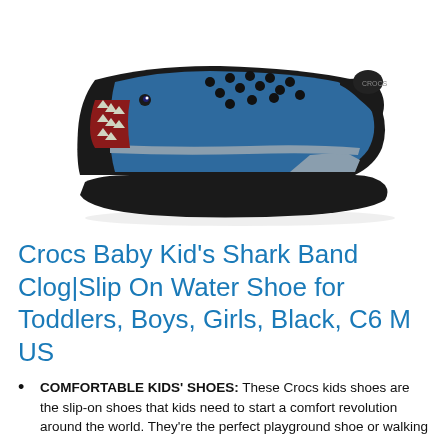[Figure (photo): A black Crocs clog with shark design featuring blue band, shark teeth graphic on toe, and grey stripe accents, shown from the side on a white background.]
Crocs Baby Kid’s Shark Band Clog|Slip On Water Shoe for Toddlers, Boys, Girls, Black, C6 M US
COMFORTABLE KIDS’ SHOES: These Crocs kids shoes are the slip-on shoes that kids need to start a comfort revolution around the world. They’re the perfect playground shoe or walking